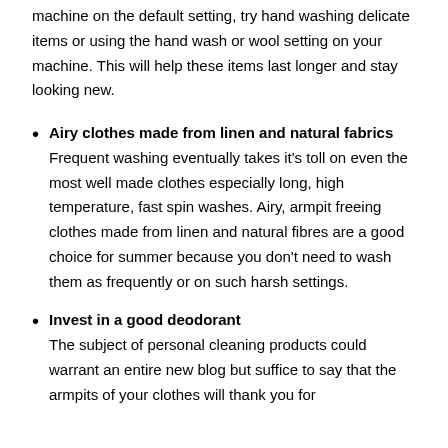machine on the default setting, try hand washing delicate items or using the hand wash or wool setting on your machine. This will help these items last longer and stay looking new.
Airy clothes made from linen and natural fabrics
Frequent washing eventually takes it's toll on even the most well made clothes especially long, high temperature, fast spin washes. Airy, armpit freeing clothes made from linen and natural fibres are a good choice for summer because you don't need to wash them as frequently or on such harsh settings.
Invest in a good deodorant
The subject of personal cleaning products could warrant an entire new blog but suffice to say that the armpits of your clothes will thank you for